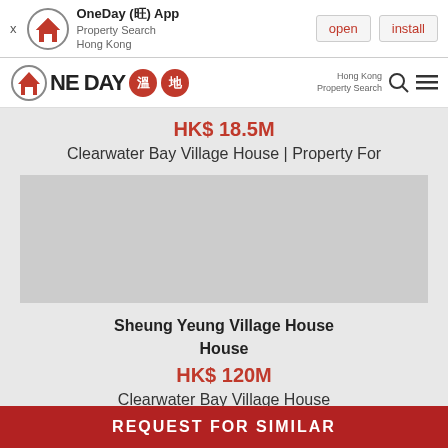[Figure (screenshot): OneDay app banner with logo, app name, Property Search Hong Kong text, open and install buttons]
[Figure (logo): OneDay property search logo with Chinese characters 溫地, Hong Kong Property Search text, search icon and hamburger menu]
HK$ 18.5M
Clearwater Bay Village House | Property For
[Figure (photo): Property photo placeholder (gray area)]
Sheung Yeung Village House
HK$ 120M
Clearwater Bay Village House | Property For
REQUEST FOR SIMILAR